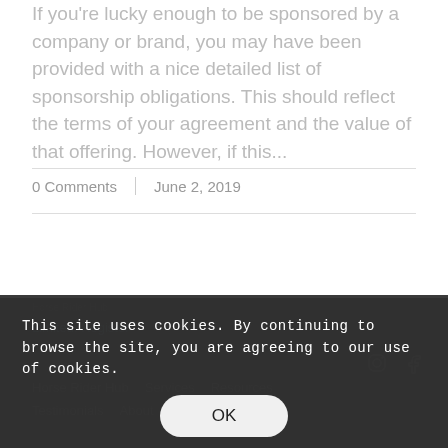If you're lucky enough to be sponsored by a company or brand, you may have been provided with a nice detailed list of sponsorship obligations. This should reflect the terms of your agreement and the value of that offering. However, if this...
0 Comments | June 2, 2019
Limited. Register
Horse Rider Hub   Services   Resources
Testimonials   About
This site uses cookies. By continuing to browse the site, you are agreeing to our use of cookies.